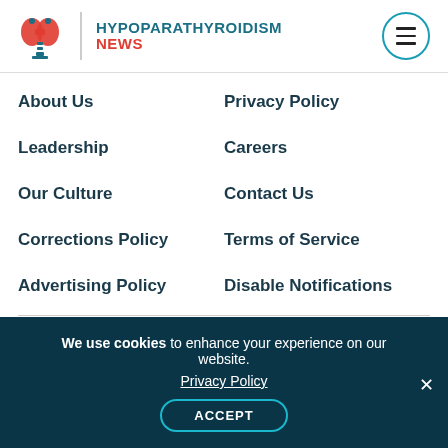[Figure (logo): Hypoparathyroidism News logo with thyroid gland illustration in teal and red]
About Us
Privacy Policy
Leadership
Careers
Our Culture
Contact Us
Corrections Policy
Terms of Service
Advertising Policy
Disable Notifications
Disclaimer
We use cookies to enhance your experience on our website. Privacy Policy ACCEPT